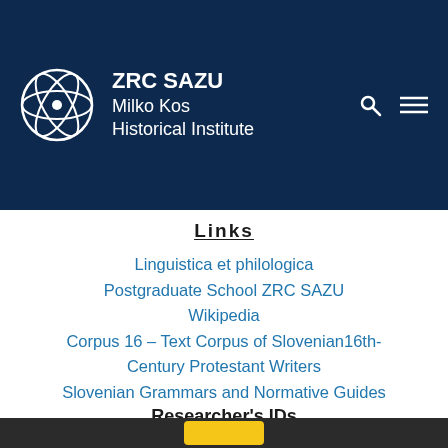ZRC SAZU Milko Kos Historical Institute
Links
Linguistica et philologica
Postgraduate School ZRC SAZU
Wikipedia
Corpus 16 – Text Corpus of Slovenian16th-Century Protestant Writers
Slovenian Grammars and Normative Guides
Researcher's IDs